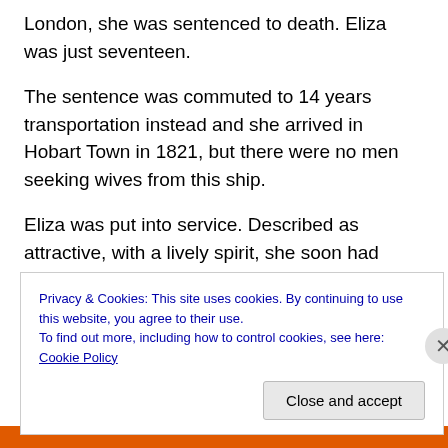London, she was sentenced to death. Eliza was just seventeen.
The sentence was commuted to 14 years transportation instead and she arrived in Hobart Town in 1821, but there were no men seeking wives from this ship.
Eliza was put into service. Described as attractive, with a lively spirit, she soon had three offences recorded against her: drunk and disorderly and
Privacy & Cookies: This site uses cookies. By continuing to use this website, you agree to their use.
To find out more, including how to control cookies, see here: Cookie Policy
Close and accept